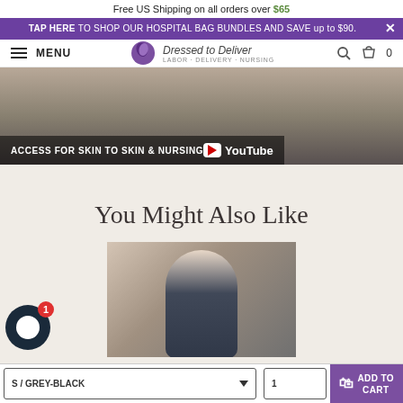Free US Shipping on all orders over $65
TAP HERE TO SHOP OUR HOSPITAL BAG BUNDLES AND SAVE up to $90.
MENU — Dressed to Deliver LABOR · DELIVERY · NURSING — Search — Cart 0
[Figure (screenshot): YouTube thumbnail showing ACCESS FOR SKIN TO SKIN & NURSING with YouTube logo overlay]
You Might Also Like
[Figure (photo): Woman wearing nursing/maternity wear, smiling, dark hair]
S / GREY-BLACK
1
ADD TO CART